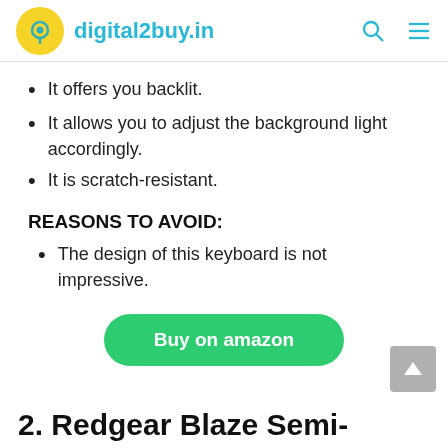digital2buy.in
It offers you backlit.
It allows you to adjust the background light accordingly.
It is scratch-resistant.
REASONS TO AVOID:
The design of this keyboard is not impressive.
Buy on amazon
2. Redgear Blaze Semi-